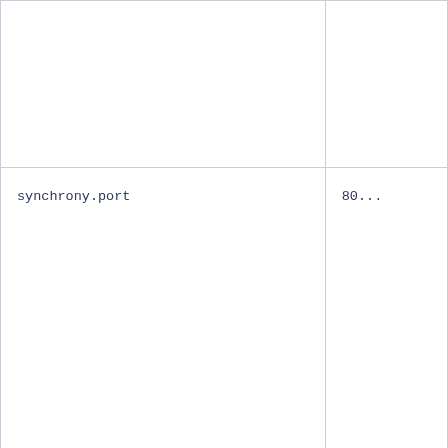| Property | Value |
| --- | --- |
|  |  |
| synchrony.port | 80... |
| synchrony.context.path | De...
co...
SY... |
| hazelcast.prefer.ipv4.stack | Tr... |